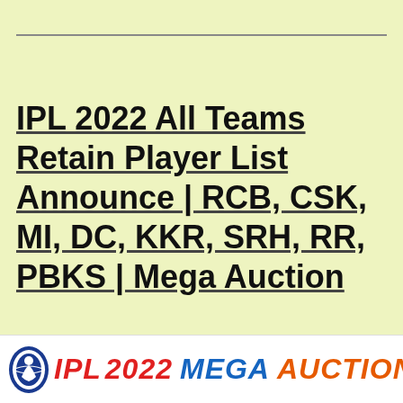IPL 2022 All Teams Retain Player List Announce | RCB, CSK, MI, DC, KKR, SRH, RR, PBKS | Mega Auction
[Figure (illustration): IPL 2022 Mega Auction banner with IPL logo, red and blue bold italic text reading 'IPL 2022 MEGA AUCTION' and a gavel/hammer icon on white background]